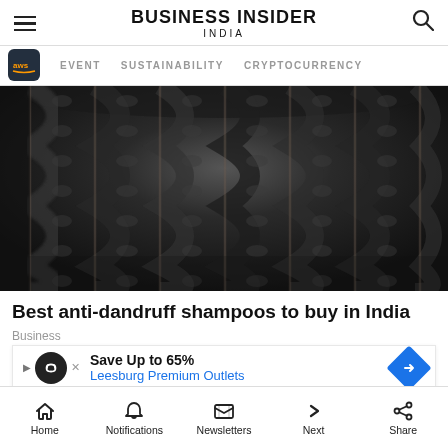BUSINESS INSIDER INDIA
EVENT  SUSTAINABILITY  CRYPTOCURRENCY
[Figure (photo): Close-up photograph of tightly braided dark hair, showing multiple cornrow braids running parallel across the scalp.]
Best anti-dandruff shampoos to buy in India
Business
Save Up to 65% Leesburg Premium Outlets
Home  Notifications  Newsletters  Next  Share